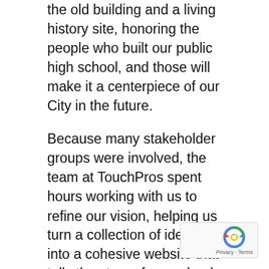the old building and a living history site, honoring the people who built our public high school, and those will make it a centerpiece of our City in the future.
Because many stakeholder groups were involved, the team at TouchPros spent hours working with us to refine our vision, helping us turn a collection of ideas into a cohesive website that tells the story of our school.
Several things that are unique to our project are:
1. A new high school name. Midway through the project the School Board began to consider changing the name of the school. This meant that we had
[Figure (other): Google reCAPTCHA badge with recycling arrow icon and Privacy - Terms text]